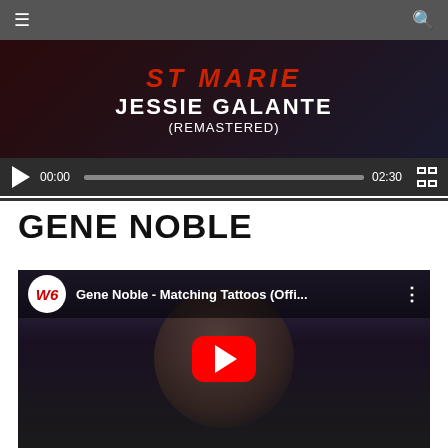Navigation bar with hamburger menu and search icon
[Figure (screenshot): Video player showing Jessie Galante (Remastered) with playback controls showing 00:00 / 02:30]
GENE NOBLE
[Figure (screenshot): YouTube video embed for Gene Noble - Matching Tattoos (Offi...) with red play button and channel logo]